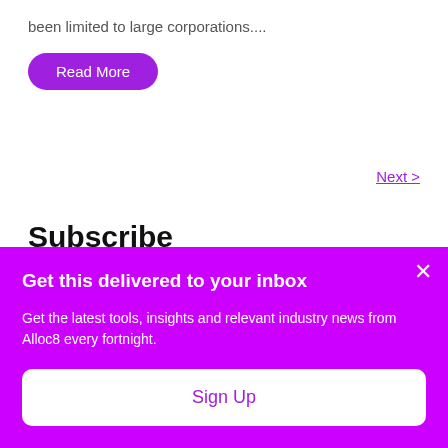been limited to large corporations....
Read More
Next >
Subscribe
Email
Get this delivered to your inbox
Get the latest tools, insights and relevant industry news from Alloc8 every fortnight.
Sign Up